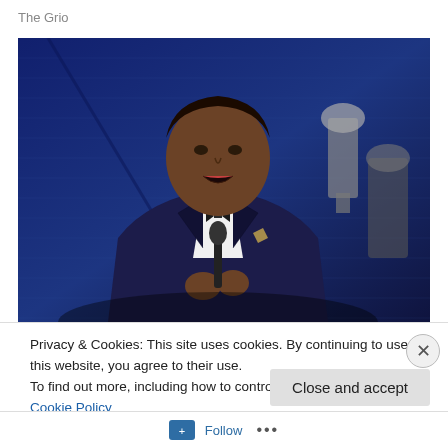The Grio
[Figure (photo): A man in a dark navy suit and bow tie holding a microphone, speaking or performing on stage. Behind him is a blue-lit brick wall and award trophies. The setting appears to be an awards ceremony.]
Privacy & Cookies: This site uses cookies. By continuing to use this website, you agree to their use.
To find out more, including how to control cookies, see here: Cookie Policy
Close and accept
Follow